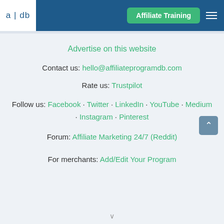a|db  Affiliate Training
Advertise on this website
Contact us: hello@affiliateprogramdb.com
Rate us: Trustpilot
Follow us: Facebook · Twitter · LinkedIn · YouTube · Medium · Instagram · Pinterest
Forum: Affiliate Marketing 24/7 (Reddit)
For merchants: Add/Edit Your Program